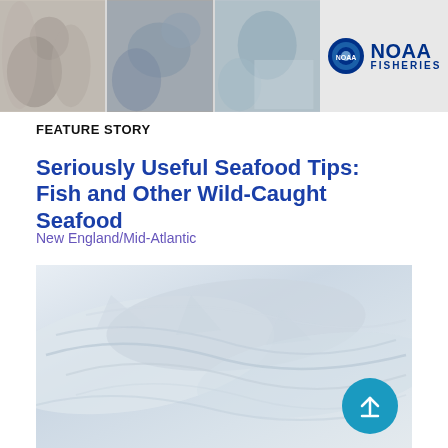[Figure (photo): NOAA Fisheries banner header with three photo panels showing people working with fish/seafood, and the NOAA Fisheries logo on the right]
FEATURE STORY
Seriously Useful Seafood Tips: Fish and Other Wild-Caught Seafood
New England/Mid-Atlantic
[Figure (photo): Close-up photograph of fresh fish fillets or whole fish, light grey/white tones with subtle detail of fish scales and flesh]